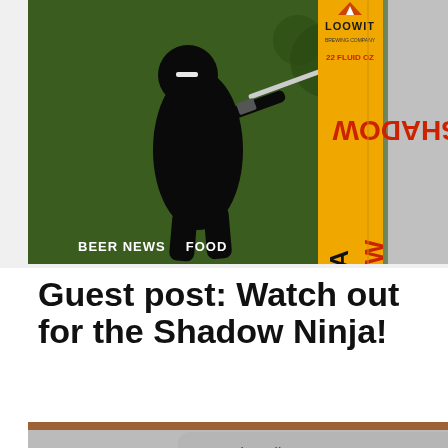[Figure (photo): Beer label image for Loowit Brewing Shadow Ninja IPA, 22 fluid oz, showing a ninja silhouette holding a sword on a green background with hop leaves]
BEER NEWS   FOOD
Guest post: Watch out for the Shadow Ninja!
By Cody Gray Vancouver Brewfest I've always wondered why Loowit Brewing named their IPA after a ninja, and after
Loading new posts...